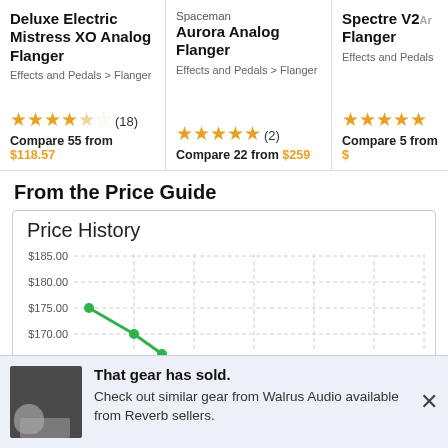Deluxe Electric Mistress XO Analog Flanger
Effects and Pedals > Flanger
★★★★½ (18)
Compare 55 from $118.57
Spaceman
Aurora Analog Flanger
Effects and Pedals > Flanger
★★★★★ (2)
Compare 22 from $259
Spectre V2... Flanger
Effects and Pedals
★★★★★
Compare 5 from $...
From the Price Guide
[Figure (line-chart): Line chart showing price history declining from ~$175 to ~$168, with y-axis labels $170.00, $175.00, $180.00, $185.00]
That gear has sold.
Check out similar gear from Walrus Audio available from Reverb sellers.